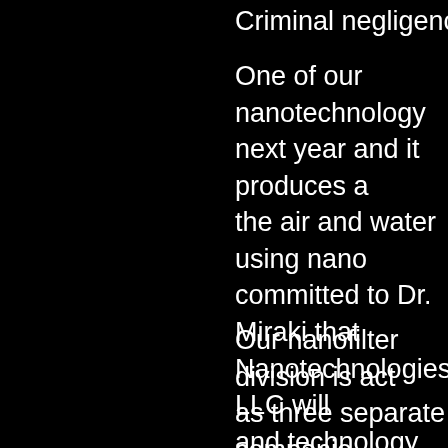Criminal negligence is not t
One of our nanotechnology next year and it produces a the air and water using nano committed to Dr. Miraki that Nanotechnologies, LLC will and technology to see if thin the Balkans, Afghanistan, a fundamental issue is -- watc government try to stop us fr the bulk of our scientists are controllable by this evil gove on solutions to things our go want you to know about.
Our nanofilter division is act as three separate companie filtration, domestic water filtr office and a separate divisio industrial and municipal wat We might also provide need this matter in the manner it s there where the nuclear poll where they try to hide it from